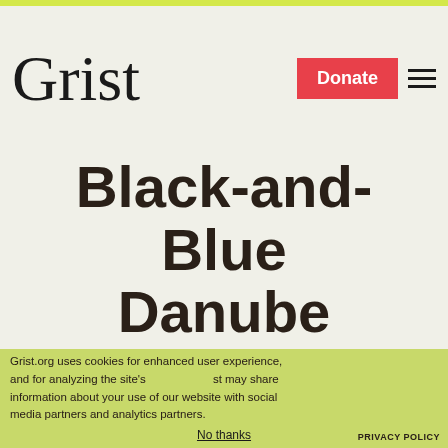Grist
Black-and-Blue Danube
Grist.org uses cookies for enhanced user experience, and for analyzing the site's performance. Grist may share information about your use of our website with social media partners and analytics partners.
[Figure (screenshot): Parched newsletter signup overlay with logo, subtitle 'Sign up to get drought updates from Grist.', email input field, SIGN UP button, PRIVACY POLICY link, and No thanks link]
Sign up to get drought updates from Grist.
No thanks